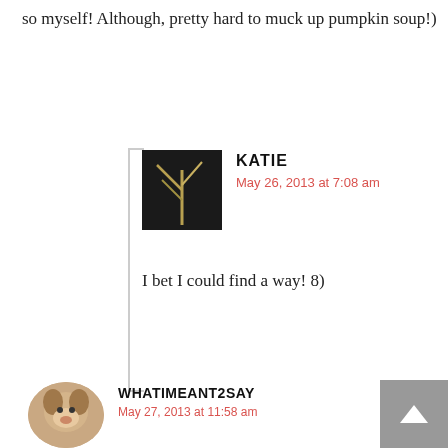so myself! Although, pretty hard to muck up pumpkin soup!)
KATIE
May 26, 2013 at 7:08 am
I bet I could find a way! 8)
WHATIMEANT2SAY
May 27, 2013 at 11:58 am